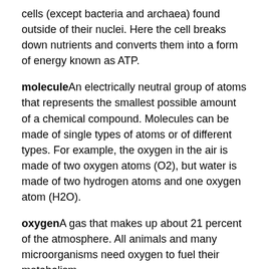cells (except bacteria and archaea) found outside of their nuclei. Here the cell breaks down nutrients and converts them into a form of energy known as ATP.
moleculeAn electrically neutral group of atoms that represents the smallest possible amount of a chemical compound. Molecules can be made of single types of atoms or of different types. For example, the oxygen in the air is made of two oxygen atoms (O2), but water is made of two hydrogen atoms and one oxygen atom (H2O).
oxygenA gas that makes up about 21 percent of the atmosphere. All animals and many microorganisms need oxygen to fuel their metabolism.
phosphateA chemical containing one atom of phosphorus and four atoms of oxygen. It is a component of bones, hard white tooth enamel, and some minerals such as apatite.